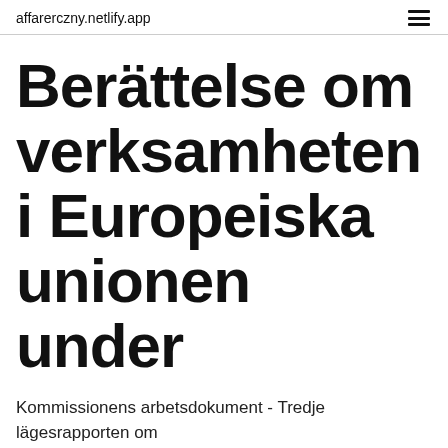affarerczny.netlify.app
Berättelse om verksamheten i Europeiska unionen under
Kommissionens arbetsdokument - Tredje lägesrapporten om
The statistical data is declared electronically. The statistical declaration may be completed and